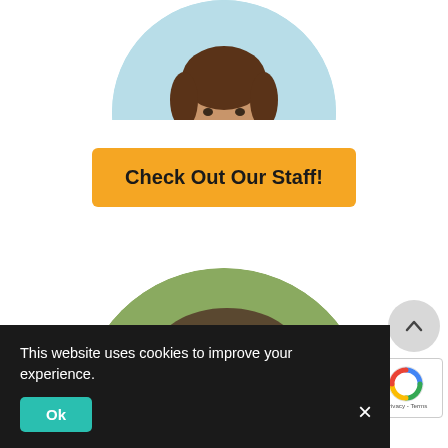[Figure (photo): Partial circular portrait of a person in a dark red/maroon jacket, cropped at top of page, with light blue background]
Check Out Our Staff!
[Figure (photo): Circular portrait of a smiling woman with highlighted brown/grey hair, outdoors]
This website uses cookies to improve your experience.
Ok